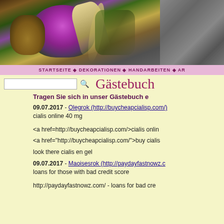[Figure (photo): Header photo of purple flowering ornamental kale/cabbage plant with a feather and stone wall background]
STARTSEITE ◆ DEKORATIONEN ◆ HANDARBEITEN ◆ AR
Gästebuch
Tragen Sie sich in unser Gästebuch e
09.07.2017 - Olegrok (http://buycheapcialisp.com/)
cialis online 40 mg
<a href=http://buycheapcialisp.com/>cialis onlin
<a href="http://buycheapcialisp.com/">buy cialis
look there cialis en gel
09.07.2017 - Maoisesrok (http://paydayfastnowz.c
loans for those with bad credit score
http://paydayfastnowz.com/ - loans for bad cre